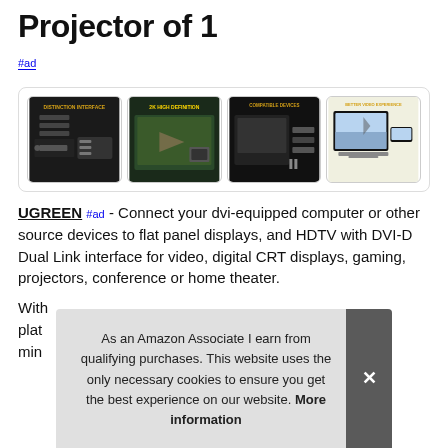Projector of 1
#ad
[Figure (photo): Product image gallery showing four product photos: distinctive interface DVI cable, 2K high definition display, compatible devices ports, and better video experience with TV and laptop.]
UGREEN #ad - Connect your dvi-equipped computer or other source devices to flat panel displays, and HDTV with DVI-D Dual Link interface for video, digital CRT displays, gaming, projectors, conference or home theater.
With plat min
As an Amazon Associate I earn from qualifying purchases. This website uses the only necessary cookies to ensure you get the best experience on our website. More information